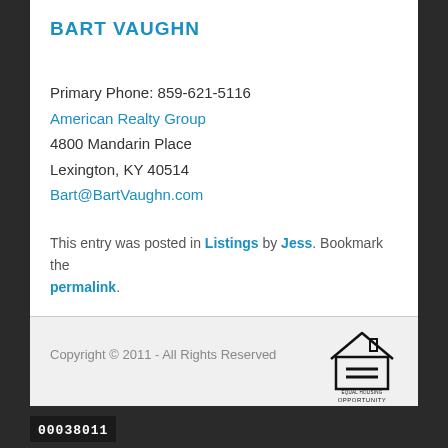BART VAUGHN
Primary Phone: 859-621-5116
American Realty Group
4800 Mandarin Place
Lexington, KY 40514
Bart@BartVaughn.com
This entry was posted in Listings by Jess. Bookmark the permalink.
Comments are closed.
Copyright © 2011 - All Rights Reserved
00038011